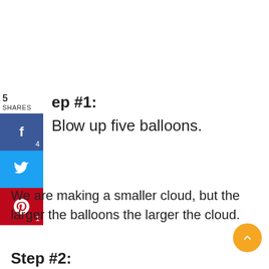5
SHARES
Step #1:
Blow up five balloons.
We are making a smaller cloud, but the larger the balloons the larger the cloud.
Step #2: